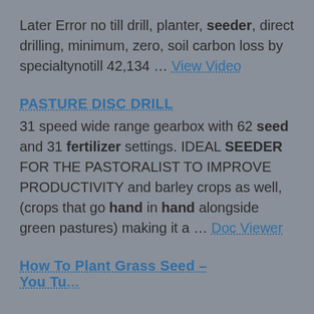Later Error no till drill, planter, seeder, direct drilling, minimum, zero, soil carbon loss by specialtynotill 42,134 ... View Video
PASTURE DISC DRILL
31 speed wide range gearbox with 62 seed and 31 fertilizer settings. IDEAL SEEDER FOR THE PASTORALIST TO IMPROVE PRODUCTIVITY and barley crops as well, (crops that go hand in hand alongside green pastures) making it a ... Doc Viewer
How To Plant Grass Seed – You Tu...